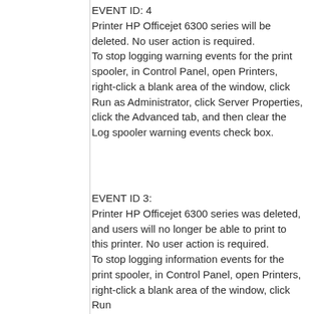EVENT ID: 4
Printer HP Officejet 6300 series will be deleted. No user action is required.
To stop logging warning events for the print spooler, in Control Panel, open Printers, right-click a blank area of the window, click Run as Administrator, click Server Properties, click the Advanced tab, and then clear the Log spooler warning events check box.
EVENT ID 3:
Printer HP Officejet 6300 series was deleted, and users will no longer be able to print to this printer. No user action is required.
To stop logging information events for the print spooler, in Control Panel, open Printers, right-click a blank area of the window, click Run